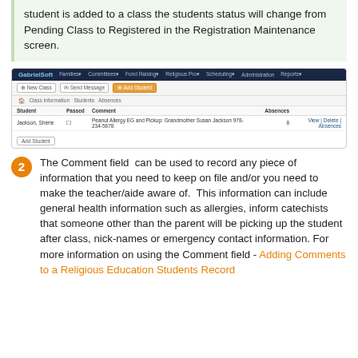student is added to a class the students status will change from Pending Class to Registered in the Registration Maintenance screen.
[Figure (screenshot): Screenshot of a software interface (GabrielSoft) showing a class information screen with a student record for Jackson, Sherie, with columns for Student, Passed, Comment, and Absences. A toolbar shows New Class, Send Message, and Add Student buttons.]
2 The Comment field can be used to record any piece of information that you need to keep on file and/or you need to make the teacher/aide aware of. This information can include general health information such as allergies, inform catechists that someone other than the parent will be picking up the student after class, nick-names or emergency contact information. For more information on using the Comment field - Adding Comments to a Religious Education Students Record